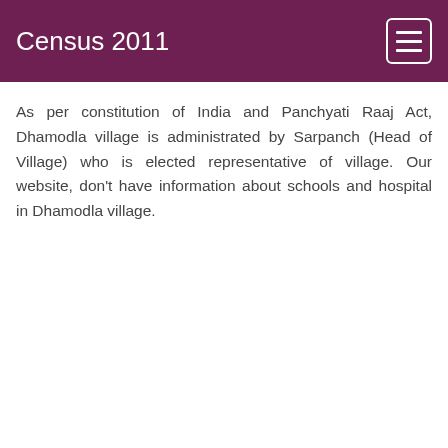Census 2011
As per constitution of India and Panchyati Raaj Act, Dhamodla village is administrated by Sarpanch (Head of Village) who is elected representative of village. Our website, don't have information about schools and hospital in Dhamodla village.